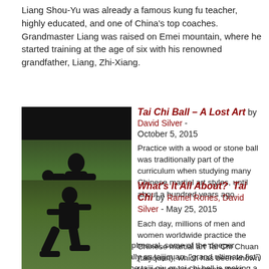Liang Shou-Yu was already a famous kung fu teacher, highly educated, and one of China's top coaches. Grandmaster Liang was raised on Emei mountain, where he started training at the age of six with his renowned grandfather, Liang, Zhi-Xiang.
[Figure (photo): Man in black martial arts clothing holding a ball in a fighting stance outdoors with trees in background]
Tai Chi Ball – A Lost Art by David Silver - October 5, 2015
Practice with a wood or stone ball was traditionally part of the curriculum when studying many Chinese martial art styles, until about a hundred years ago. Because of repeated cultural upheaval, some of the deeper aspects of tai chi (known formally as taijiquan, "grand ultimate fist") were lost over time. But now, the taiji qiu or tai chi ball is making a comeback.
[Figure (photo): Person in black martial arts clothing performing a low stance move outdoors]
What's It All About? Tai Chi by Ramel Rones, David Silver - May 25, 2015
Each day, millions of men and women worldwide practice the Chinese martial art Tai Chi Chuan (taijiquan), which has been known for centuries to promote deep relaxation,